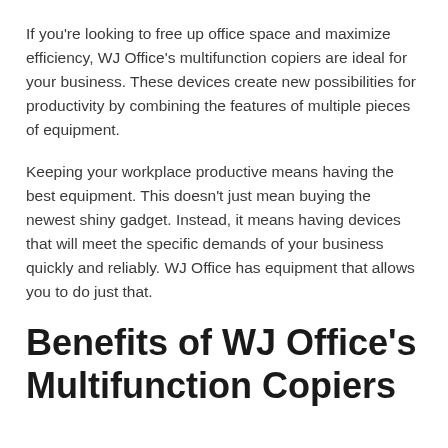If you're looking to free up office space and maximize efficiency, WJ Office's multifunction copiers are ideal for your business. These devices create new possibilities for productivity by combining the features of multiple pieces of equipment.
Keeping your workplace productive means having the best equipment. This doesn't just mean buying the newest shiny gadget. Instead, it means having devices that will meet the specific demands of your business quickly and reliably. WJ Office has equipment that allows you to do just that.
Benefits of WJ Office's Multifunction Copiers